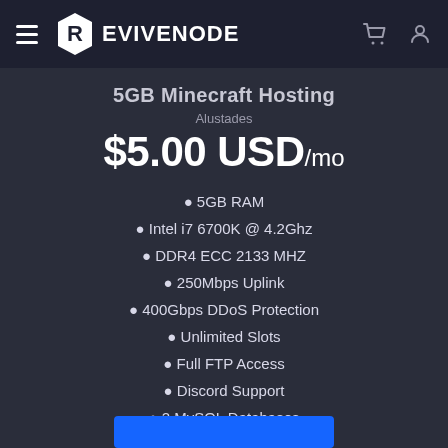REVIVENODE
5GB Minecraft Hosting
Alustades
$5.00 USD/mo
5GB RAM
Intel i7 6700K @ 4.2Ghz
DDR4 ECC 2133 MHZ
250Mbps Uplink
400Gbps DDoS Protection
Unlimited Slots
Full FTP Access
Discord Support
2 MySQL Databases